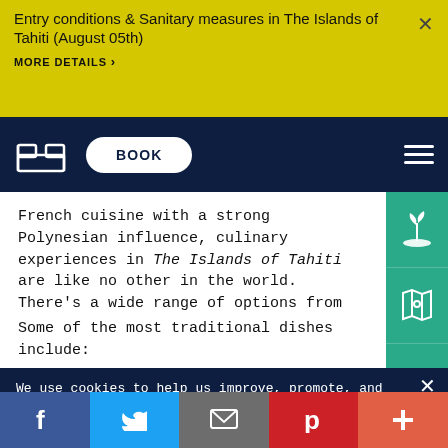Entry conditions & Sanitary measures in The Islands of Tahiti (August 05th)
MORE DETAILS >
French cuisine with a strong Polynesian influence, culinary experiences in The Islands of Tahiti are like no other in the world. There's a wide range of options from chic and elegant restaurants to local and casual eaters.
Some of the most traditional dishes include:
We use cookies to help us improve, promote, and protect our services. By continuing to use the site, you agree to our cookie policy.